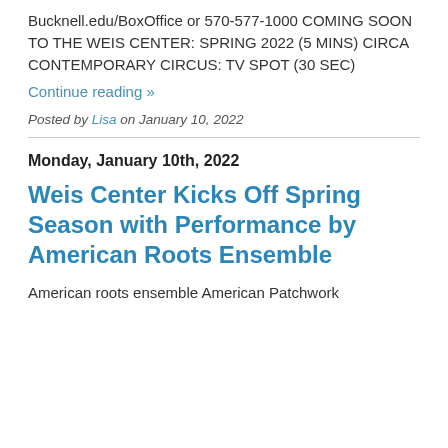Bucknell.edu/BoxOffice or 570-577-1000 COMING SOON TO THE WEIS CENTER: SPRING 2022 (5 MINS) CIRCA CONTEMPORARY CIRCUS: TV SPOT (30 SEC)
Continue reading »
Posted by Lisa on January 10, 2022
Monday, January 10th, 2022
Weis Center Kicks Off Spring Season with Performance by American Roots Ensemble
American roots ensemble American Patchwork